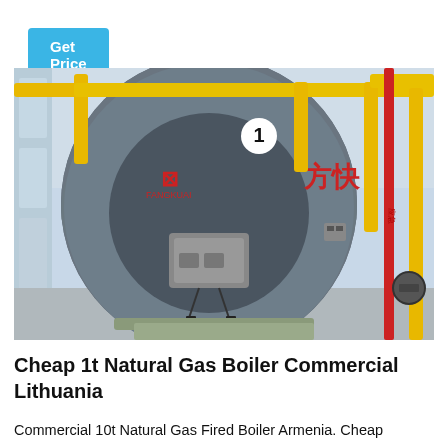Get Price
[Figure (photo): Industrial natural gas fired boiler unit with Chinese branding (方快/Fangkuai), numbered '1', installed in a facility with yellow gas pipes and red emergency piping on the right side.]
Cheap 1t Natural Gas Boiler Commercial Lithuania
Commercial 10t Natural Gas Fired Boiler Armenia. Cheap